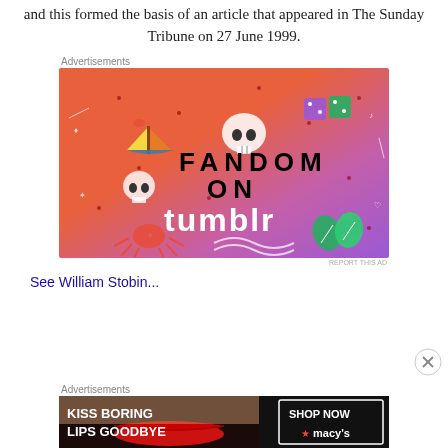and this formed the basis of an article that appeared in The Sunday Tribune on 27 June 1999.
Advertisements
[Figure (illustration): Fandom on Tumblr advertisement with colorful gradient background (orange to purple) with doodle illustrations, boat, skull, dice, and text reading FANDOM ON tumblr]
REPORT THIS AD
See William Stob...
Advertisements
[Figure (illustration): Macy's advertisement with red lips image, text reading KISS BORING LIPS GOODBYE and SHOP NOW with Macy's star logo]